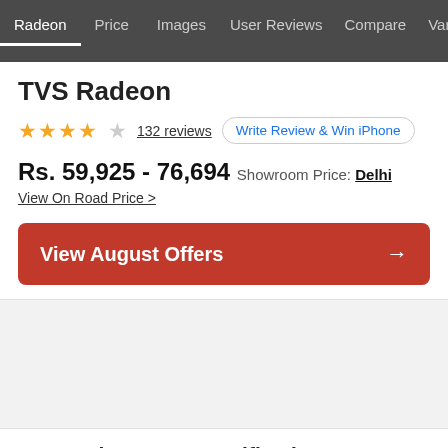Radeon | Price | Images | User Reviews | Compare | Varian
TVS Radeon
★★★★☆ 132 reviews  Write Review & Win iPhone
Rs. 59,925 - 76,694  Showroom Price: Delhi
View On Road Price >
View August Offers →
TVS Radeon Key Specifications